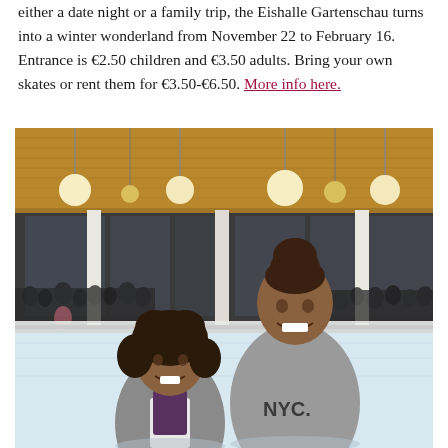either a date night or a family trip, the Eishalle Gartenschau turns into a winter wonderland from November 22 to February 16. Entrance is €2.50 children and €3.50 adults. Bring your own skates or rent them for €3.50-€6.50. More info here.
[Figure (photo): Two girls standing on an ice rink inside the Eishalle Gartenschau. The younger girl on the left has curly dark hair and wears a grey hoodie. The taller girl on the right wears a grey NYC sweatshirt and has her hair up. The background shows the ice rink facility with hanging globe lights, columns, and crowds of people skating in the background.]